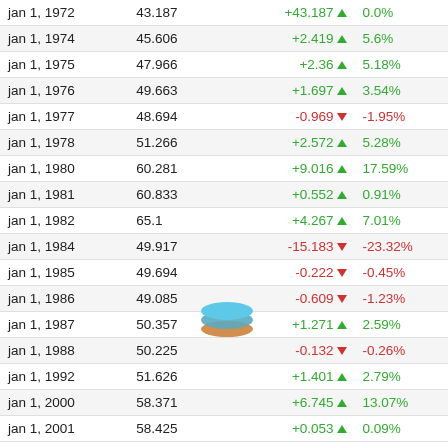| Date | Value | Change | % Change |
| --- | --- | --- | --- |
| jan 1, 1972 | 43.187 | +43.187 ▲ | 0.0% |
| jan 1, 1974 | 45.606 | +2.419 ▲ | 5.6% |
| jan 1, 1975 | 47.966 | +2.36 ▲ | 5.18% |
| jan 1, 1976 | 49.663 | +1.697 ▲ | 3.54% |
| jan 1, 1977 | 48.694 | -0.969 ▼ | -1.95% |
| jan 1, 1978 | 51.266 | +2.572 ▲ | 5.28% |
| jan 1, 1980 | 60.281 | +9.016 ▲ | 17.59% |
| jan 1, 1981 | 60.833 | +0.552 ▲ | 0.91% |
| jan 1, 1982 | 65.1 | +4.267 ▲ | 7.01% |
| jan 1, 1984 | 49.917 | -15.183 ▼ | -23.32% |
| jan 1, 1985 | 49.694 | -0.222 ▼ | -0.45% |
| jan 1, 1986 | 49.085 | -0.609 ▼ | -1.23% |
| jan 1, 1987 | 50.357 | +1.271 ▲ | 2.59% |
| jan 1, 1988 | 50.225 | -0.132 ▼ | -0.26% |
| jan 1, 1992 | 51.626 | +1.401 ▲ | 2.79% |
| jan 1, 2000 | 58.371 | +6.745 ▲ | 13.07% |
| jan 1, 2001 | 58.425 | +0.053 ▲ | 0.09% |